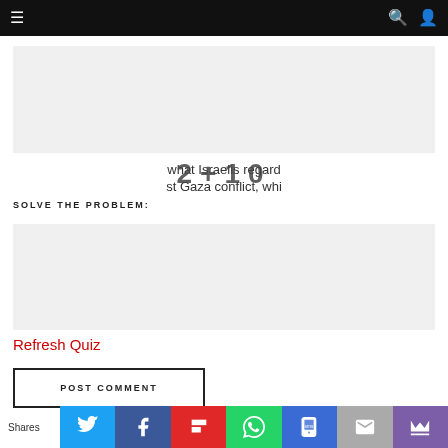Navigation bar with menu, search, and user icons
[Figure (other): Gray placeholder advertisement or image box at top]
what Israelis regard ... st Gaza conflict, whi ...
SOLVE THE PROBLEM: 2 + 10 = ?
[Figure (other): Gray placeholder box, quiz or ad area]
Refresh Quiz
POST COMMENT
Shares | Twitter | Facebook | Flipboard | WhatsApp | SMS | Email | Crown